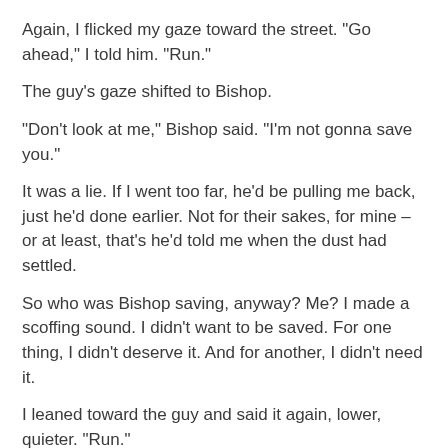Again, I flicked my gaze toward the street. "Go ahead," I told him. "Run."
The guy's gaze shifted to Bishop.
"Don't look at me," Bishop said. "I'm not gonna save you."
It was a lie. If I went too far, he'd be pulling me back, just he'd done earlier. Not for their sakes, for mine – or at least, that's he'd told me when the dust had settled.
So who was Bishop saving, anyway? Me? I made a scoffing sound. I didn't want to be saved. For one thing, I didn't deserve it. And for another, I didn't need it.
I leaned toward the guy and said it again, lower, quieter. "Run."
But the guy didn't run. And neither did his friend.
Too bad.
Apparently, they were smarter than they looked. Between the trunk or freedom here, in